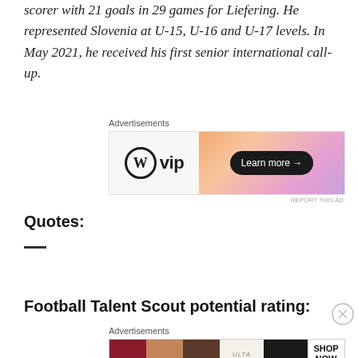scorer with 21 goals in 29 games for Liefering. He represented Slovenia at U-15, U-16 and U-17 levels. In May 2021, he received his first senior international call-up.
[Figure (other): WordPress VIP advertisement banner with orange/pink gradient and 'Learn more' button]
Quotes:
Football Talent Scout potential rating:
[Figure (other): ULTA Beauty advertisement banner with makeup product images and SHOP NOW call to action]